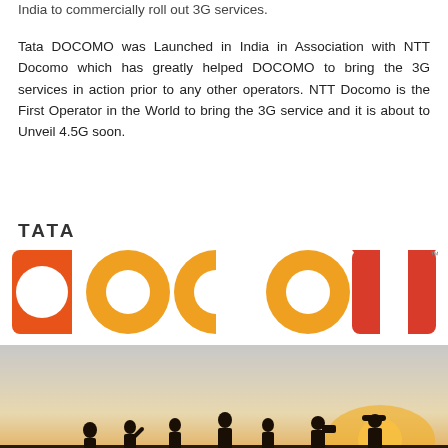India to commercially roll out 3G services.
Tata DOCOMO was Launched in India in Association with NTT Docomo which has greatly helped DOCOMO to bring the 3G services in action prior to any other operators. NTT Docomo is the First Operator in the World to bring the 3G service and it is about to Unveil 4.5G soon.
[Figure (logo): Tata DOCOMO logo with colorful circular letters in orange, yellow, and red, with TATA wordmark above, and a silhouette photo of people against a sunset sky below.]